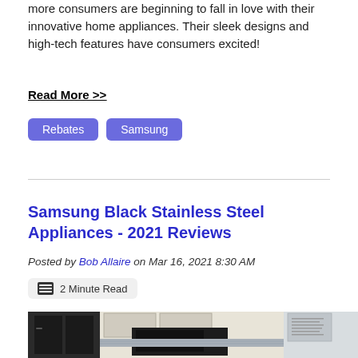more consumers are beginning to fall in love with their innovative home appliances. Their sleek designs and high-tech features have consumers excited!
Read More >>
Rebates
Samsung
Samsung Black Stainless Steel Appliances - 2021 Reviews
Posted by Bob Allaire on Mar 16, 2021 8:30 AM
2 Minute Read
[Figure (photo): Kitchen scene with black stainless steel Samsung refrigerator on the left and microwave above the range, white cabinetry, gray tile backsplash]